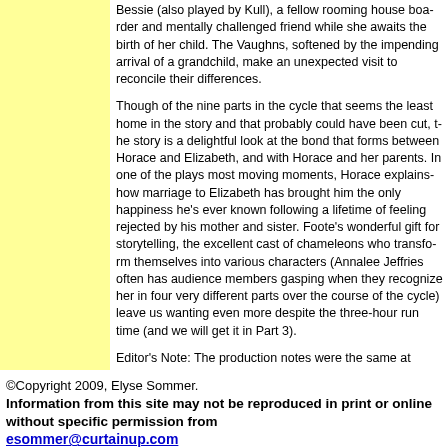Bessie (also played by Kull), a fellow rooming house boarder and mentally challenged friend while she awaits the birth of her child. The Vaughns, softened by the impending arrival of a grandchild, make an unexpected visit to reconcile their differences.
Though of the nine parts in the cycle that seems the least at home in the story and that probably could have been cut, the story is a delightful look at the bond that forms between Horace and Elizabeth, and with Horace and her parents. In one of the plays most moving moments, Horace explains how marriage to Elizabeth has brought him the only happiness he's ever known following a lifetime of feeling rejected by his mother and sister. Foote's wonderful gift for storytelling, the excellent cast of chameleons who transform themselves into various characters (Annalee Jeffries often has audience members gasping when they recognize her in four very different parts over the course of the cycle) leaves us wanting even more despite the three-hour run time (and we will get it in Part 3).
Editor's Note: The production notes were the same at Hartford as at the Signature, and this part of the cycle was reviewed by Lauren Yarger on Oct. 17, 2009
©Copyright 2009, Elyse Sommer.
Information from this site may not be reproduced in print or online without specific permission from
esommer@curtainup.com